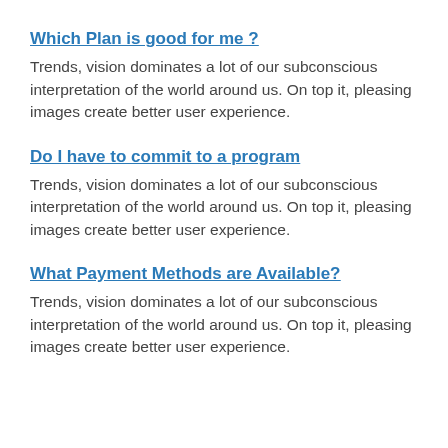Which Plan is good for me ?
Trends, vision dominates a lot of our subconscious interpretation of the world around us. On top it, pleasing images create better user experience.
Do I have to commit to a program
Trends, vision dominates a lot of our subconscious interpretation of the world around us. On top it, pleasing images create better user experience.
What Payment Methods are Available?
Trends, vision dominates a lot of our subconscious interpretation of the world around us. On top it, pleasing images create better user experience.